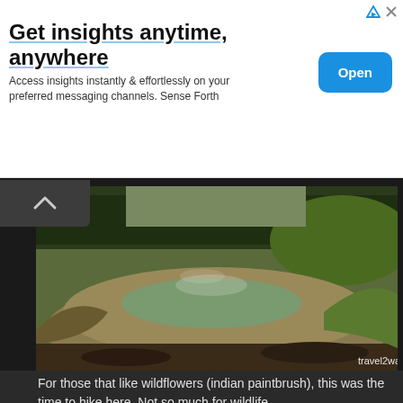[Figure (other): Advertisement banner: 'Get insights anytime, anywhere' with blue Open button. Sense Forth app ad.]
[Figure (photo): Photograph of a geothermal mud pool or hot spring in a natural outdoor setting with trees in the background. Watermark reads 'travel2walk'.]
For those that like wildflowers (indian paintbrush), this was the time to hike here. Not so much for wildlife.
[Figure (photo): Photograph showing a blue sky with white clouds, partial view of trees at the edges.]